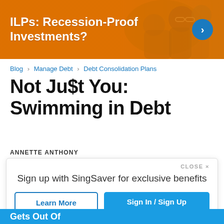[Figure (illustration): Orange banner advertisement with text 'ILPs: Recession-Proof Investments?' and a right-arrow button, with people in background]
Blog › Manage Debt › Debt Consolidation Plans
Not Ju$t You: Swimming in Debt
ANNETTE ANTHONY
CLOSE ×
Sign up with SingSaver for exclusive benefits
Learn More | Sign In / Sign Up
Gets Out Of